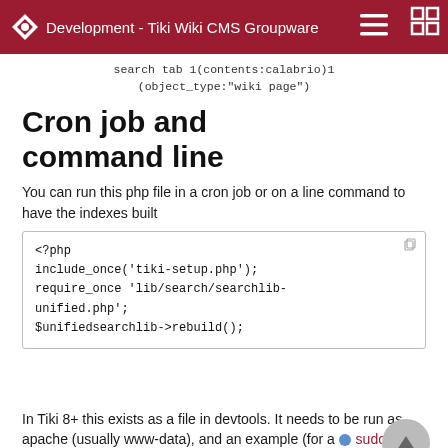Development - Tiki Wiki CMS Groupware
search tab 1(contents:calabrio)1 (object_type:"wiki page")
Cron job and command line
You can run this php file in a cron job or on a line command to have the indexes built
<?php
include_once('tiki-setup.php');
require_once 'lib/search/searchlib-unified.php';
$unifiedsearchlib->rebuild();
In Tiki 8+ this exists as a file in devtools. It needs to be run as apache (usually www-data), and an example (for a sudoer